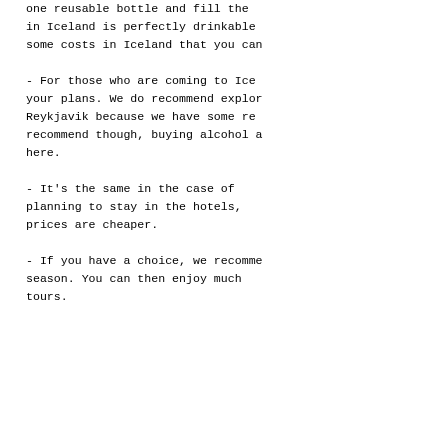one reusable bottle and fill the in Iceland is perfectly drinkable some costs in Iceland that you can
- For those who are coming to Ice your plans. We do recommend explor Reykjavik because we have some re recommend though, buying alcohol a here.
- It’s the same in the case of planning to stay in the hotels, prices are cheaper.
- If you have a choice, we recomme season. You can then enjoy much tours.